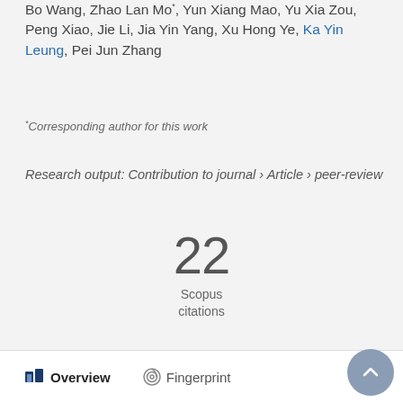Bo Wang, Zhao Lan Mo*, Yun Xiang Mao, Yu Xia Zou, Peng Xiao, Jie Li, Jia Yin Yang, Xu Hong Ye, Ka Yin Leung, Pei Jun Zhang
*Corresponding author for this work
Research output: Contribution to journal › Article › peer-review
22 Scopus citations
Overview   Fingerprint